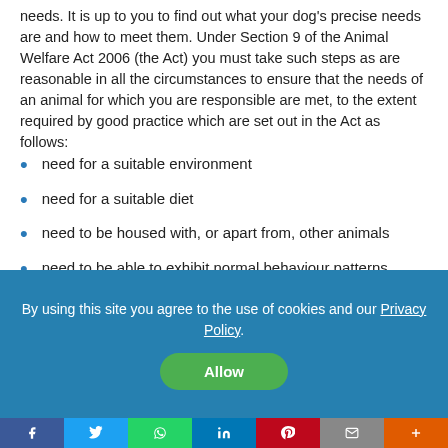needs. It is up to you to find out what your dog's precise needs are and how to meet them. Under Section 9 of the Animal Welfare Act 2006 (the Act) you must take such steps as are reasonable in all the circumstances to ensure that the needs of an animal for which you are responsible are met, to the extent required by good practice which are set out in the Act as follows:
need for a suitable environment
need for a suitable diet
need to be housed with, or apart from, other animals
need to be able to exhibit normal behaviour patterns
need to be protected from pain, suffering, injury and disease
By using this site you agree to the use of cookies and our Privacy Policy
Allow